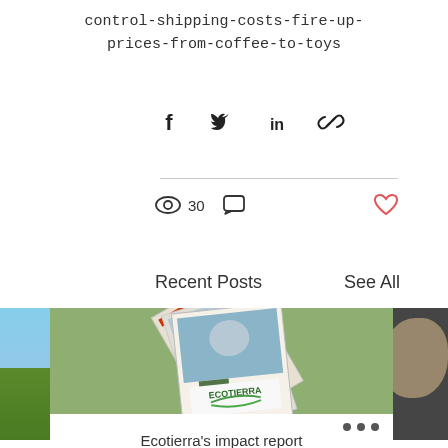control-shipping-costs-fire-up-prices-from-coffee-to-toys
[Figure (infographic): Social share icons: Facebook, Twitter, LinkedIn, Link]
30
[Figure (infographic): View count eye icon showing 30, comment icon, and heart/like icon]
Recent Posts
See All
[Figure (photo): Partial photo on left edge showing sky and green hillside]
[Figure (photo): Center card showing Ecotierra brochure/report covers fanned out on green background]
[Figure (photo): Partial photo on right edge showing a person's face with glasses]
Ecotierra's impact report